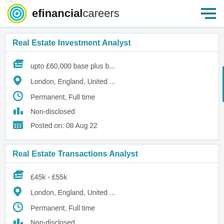efinancialcareers
Real Estate Investment Analyst
upto £60,000 base plus b...
London, England, United ...
Permanent, Full time
Non-disclosed
Posted on:  08 Aug 22
Real Estate Transactions Analyst
£45k - £55k
London, England, United ...
Permanent, Full time
Non-disclosed